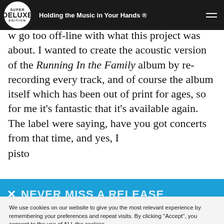Holding the Music in Your Hands ®
w go too off-line with what this project was about. I wanted to create the acoustic version of the Running In the Family album by re-recording every track, and of course the album itself which has been out of print for ages, so for me it's fantastic that it's available again. The label were saying, have you got concerts from that time, and yes, I ... pisto...
[Figure (infographic): Blue banner with close X button and text NEVER MISS A RELEASE.]
We use cookies on our website to give you the most relevant experience by remembering your preferences and repeat visits. By clicking "Accept", you consent to the use of ALL the cookies.
Cookie settings  ACCEPT